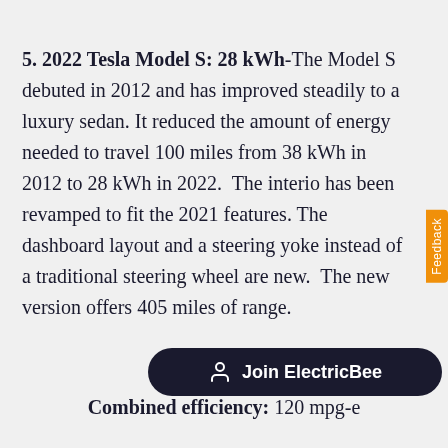5. 2022 Tesla Model S: 28 kWh-The Model S debuted in 2012 and has improved steadily to a luxury sedan. It reduced the amount of energy needed to travel 100 miles from 38 kWh in 2012 to 28 kWh in 2022.  The interior has been revamped to fit the 2021 features. The dashboard layout and a steering yoke instead of a traditional steering wheel are new.  The new version offers 405 miles of range.
Energy use: 28 kWh/100 miles
Combined efficiency: 120 mpg-e